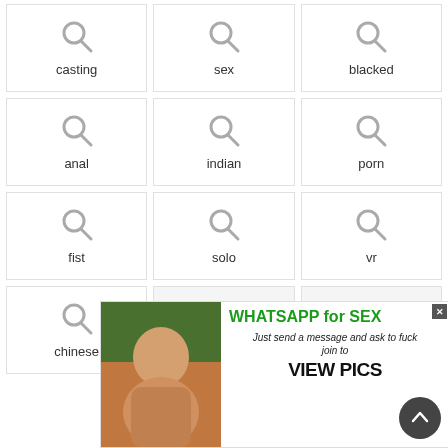[Figure (screenshot): Grid of search category tiles each with a search/magnifying glass icon and label. Row 1: casting, sex, blacked. Row 2: anal, indian, porn. Row 3: fist, solo, vr. Row 4 (partial): chinese. Overlaid by an advertisement banner.]
[Figure (photo): Advertisement overlay: WhatsApp for sex promotional banner with a photo of a nude woman and text 'WHATSAPP for SEX - Just send a message and ask to fuck - join to - VIEW PICS' with a close button and scroll-up button.]